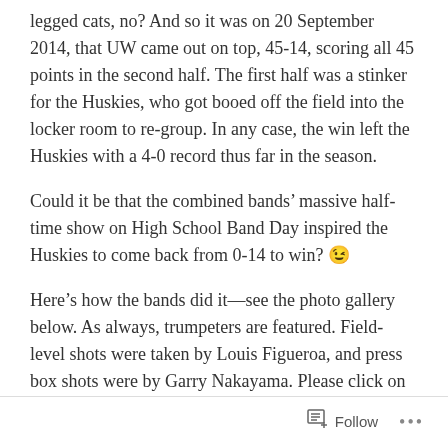legged cats, no? And so it was on 20 September 2014, that UW came out on top, 45-14, scoring all 45 points in the second half. The first half was a stinker for the Huskies, who got booed off the field into the locker room to re-group. In any case, the win left the Huskies with a 4-0 record thus far in the season.
Could it be that the combined bands' massive half-time show on High School Band Day inspired the Huskies to come back from 0-14 to win? 😉
Here's how the bands did it—see the photo gallery below. As always, trumpeters are featured. Field-level shots were taken by Louis Figueroa, and press box shots were by Garry Nakayama. Please click on any photo to enlarge it.
Follow ···